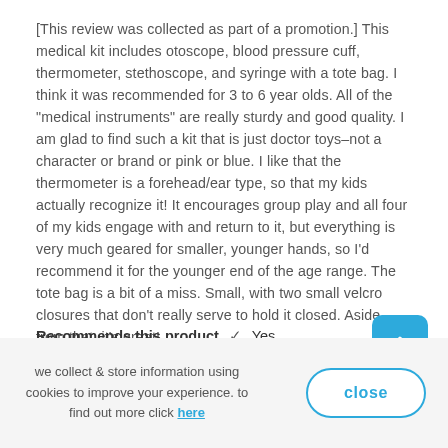[This review was collected as part of a promotion.] This medical kit includes otoscope, blood pressure cuff, thermometer, stethoscope, and syringe with a tote bag. I think it was recommended for 3 to 6 year olds. All of the "medical instruments" are really sturdy and good quality. I am glad to find such a kit that is just doctor toys–not a character or brand or pink or blue. I like that the thermometer is a forehead/ear type, so that my kids actually recognize it! It encourages group play and all four of my kids engage with and return to it, but everything is very much geared for smaller, younger hands, so I'd recommend it for the younger end of the age range. The tote bag is a bit of a miss. Small, with two small velcro closures that don't really serve to hold it closed. Aside from that, it's great!
Recommends this product ✔ Yes
we collect & store information using cookies to improve your experience. to find out more click here